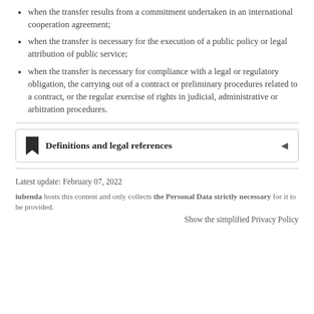when the transfer results from a commitment undertaken in an international cooperation agreement;
when the transfer is necessary for the execution of a public policy or legal attribution of public service;
when the transfer is necessary for compliance with a legal or regulatory obligation, the carrying out of a contract or preliminary procedures related to a contract, or the regular exercise of rights in judicial, administrative or arbitration procedures.
Definitions and legal references
Latest update: February 07, 2022
iubenda hosts this content and only collects the Personal Data strictly necessary for it to be provided.
Show the simplified Privacy Policy